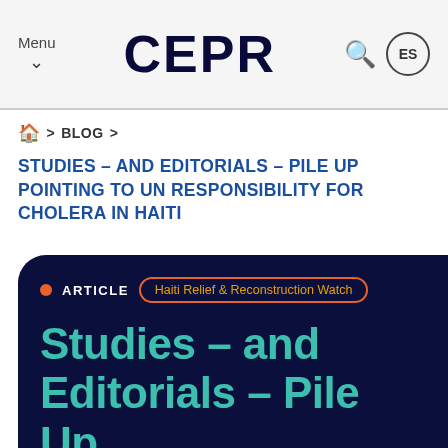Menu  CEPR  ES
🏠 > BLOG >
STUDIES – AND EDITORIALS – PILE UP POINTING TO UN RESPONSIBILITY FOR CHOLERA IN HAITI
[Figure (screenshot): Dark navy blue card with orange dot, ARTICLE label, Haiti Relief & Reconstruction Watch tag pill, and large teal heading: Studies – and Editorials – Pile Up Pointing to UN Responsibility for]